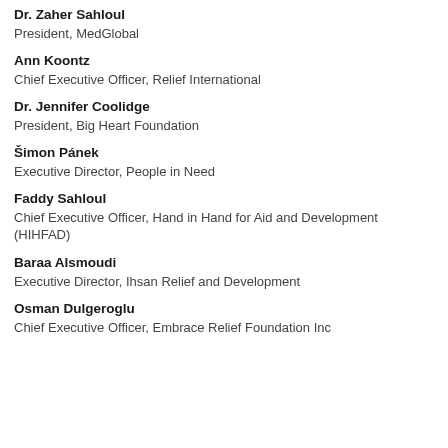Dr. Zaher Sahloul
President, MedGlobal
Ann Koontz
Chief Executive Officer, Relief International
Dr. Jennifer Coolidge
President, Big Heart Foundation
Šimon Pánek
Executive Director, People in Need
Faddy Sahloul
Chief Executive Officer, Hand in Hand for Aid and Development (HIHFAD)
Baraa Alsmoudi
Executive Director, Ihsan Relief and Development
Osman Dulgeroglu
Chief Executive Officer, Embrace Relief Foundation Inc